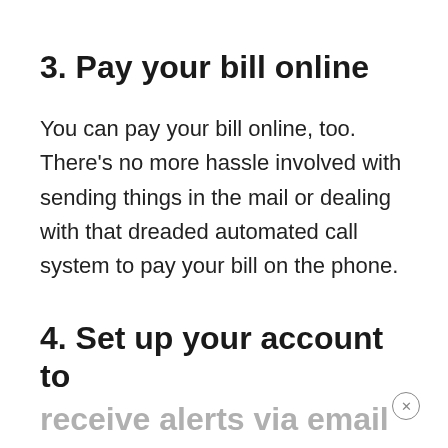3. Pay your bill online
You can pay your bill online, too. There's no more hassle involved with sending things in the mail or dealing with that dreaded automated call system to pay your bill on the phone.
4. Set up your account to
receive alerts via email